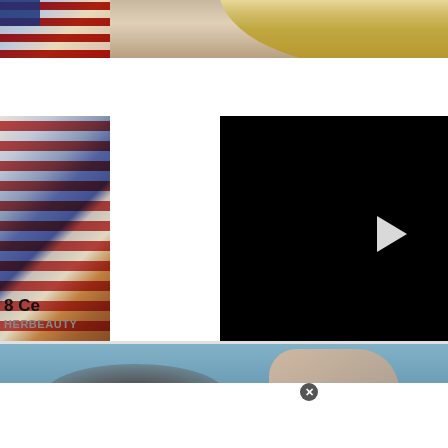[Figure (photo): Top strip showing partial view of a blonde celebrity and colorful background with American flag-style stripes on left side]
[Figure (screenshot): Black video player with white play button triangle in center]
8 Ce
HERBEAUTY
[Figure (photo): Beauty salon photo showing a person having hair treatment, hand applying product to hair at a salon basin]
[Figure (photo): Advertisement banner: KISS BORING LIPS GOODBYE with woman with red lips in center, SHOP NOW button and Macy's star logo on right, dark red background]